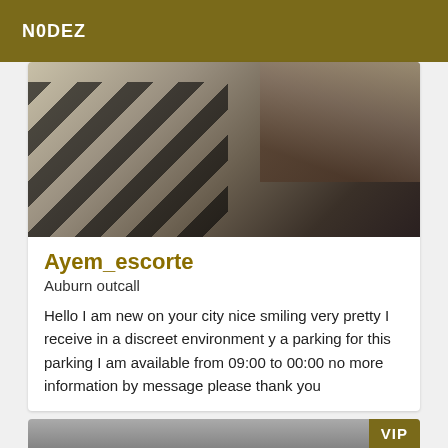N0DEZ
[Figure (photo): Close-up photo of a sign or surface with black diagonal stripes/text on white background, partially obscured]
Ayem_escorte
Auburn outcall
Hello I am new on your city nice smiling very pretty I receive in a discreet environment y a parking for this parking I am available from 09:00 to 00:00 no more information by message please thank you
[Figure (photo): Gray/dark background image with VIP badge in upper right corner]